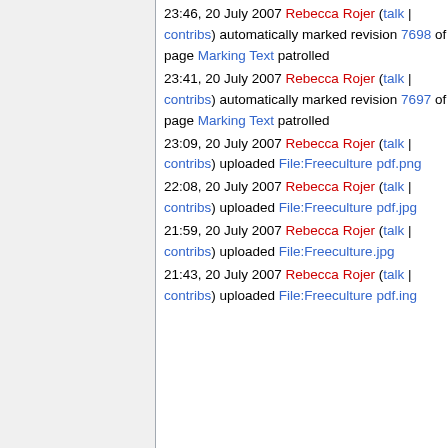23:46, 20 July 2007 Rebecca Rojer (talk | contribs) automatically marked revision 7698 of page Marking Text patrolled
23:41, 20 July 2007 Rebecca Rojer (talk | contribs) automatically marked revision 7697 of page Marking Text patrolled
23:09, 20 July 2007 Rebecca Rojer (talk | contribs) uploaded File:Freeculture pdf.png
22:08, 20 July 2007 Rebecca Rojer (talk | contribs) uploaded File:Freeculture pdf.jpg
21:59, 20 July 2007 Rebecca Rojer (talk | contribs) uploaded File:Freeculture.jpg
21:43, 20 July 2007 Rebecca Rojer (talk | contribs) uploaded File:Freeculture pdf.ing